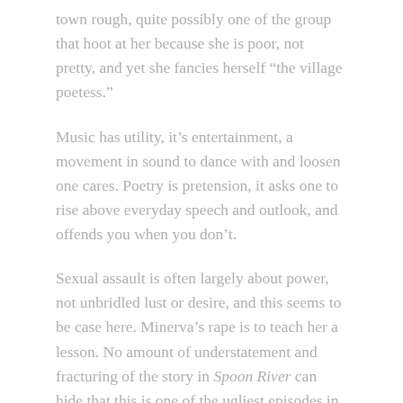town rough, quite possibly one of the group that hoot at her because she is poor, not pretty, and yet she fancies herself “the village poetess.”
Music has utility, it’s entertainment, a movement in sound to dance with and loosen one cares. Poetry is pretension, it asks one to rise above everyday speech and outlook, and offends you when you don’t.
Sexual assault is often largely about power, not unbridled lust or desire, and this seems to be case here. Minerva’s rape is to teach her a lesson. No amount of understatement and fracturing of the story in Spoon River can hide that this is one of the ugliest episodes in this book that contains full measures of hate, distrust, crooked deeds, hypocrisy, and crushed hopes.